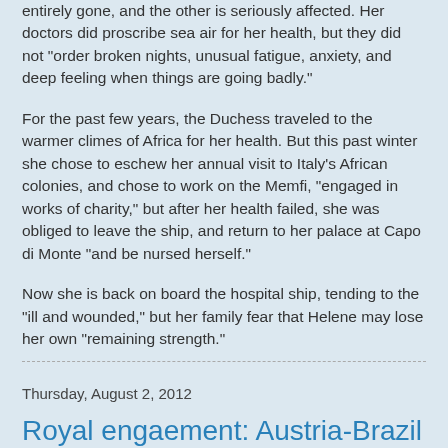entirely gone, and the other is seriously affected. Her doctors did proscribe sea air for her health, but they did not "order broken nights, unusual fatigue, anxiety, and deep feeling when things are going badly."
For the past few years, the Duchess traveled to the warmer climes of Africa for her health. But this past winter she chose to eschew her annual visit to Italy's African colonies, and chose to work on the Memfi, "engaged in works of charity," but after her health failed, she was obliged to leave the ship, and return to her palace at Capo di Monte "and be nursed herself."
Now she is back on board the hospital ship, tending to the "ill and wounded," but her family fear that Helene may lose her own "remaining strength."
Marlene Eilers Koenig at Friday, August 03, 2012    No comments:
Thursday, August 2, 2012
Royal engaement: Austria-Brazil